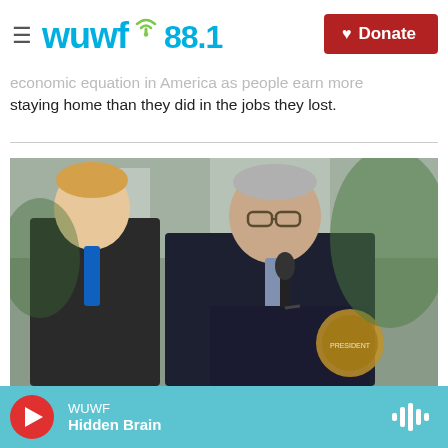≡ wuwf 88.1  ♥ Donate
economic equation in America as people earn more staying home than they did in the jobs they lost.
[Figure (photo): Two men in dark suits standing at a podium with a microphone. The man on the right is speaking at a presidential podium, wearing a blue tie and glasses. The man on the left looks on.]
Jerome Powell Has The Most Humiliating Job In America
WUWF  Hidden Brain